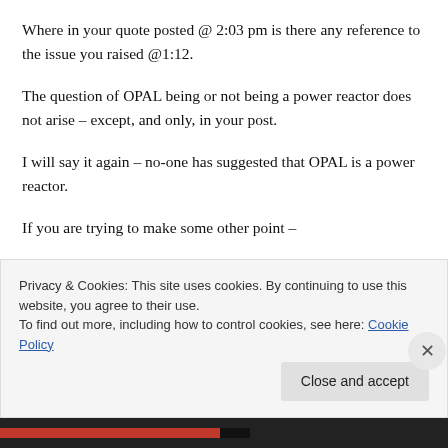Where in your quote posted @ 2:03 pm is there any reference to the issue you raised @1:12.
The question of OPAL being or not being a power reactor does not arise – except, and only, in your post.
I will say it again – no-one has suggested that OPAL is a power reactor.
If you are trying to make some other point – please make it clearer.
Privacy & Cookies: This site uses cookies. By continuing to use this website, you agree to their use.
To find out more, including how to control cookies, see here: Cookie Policy